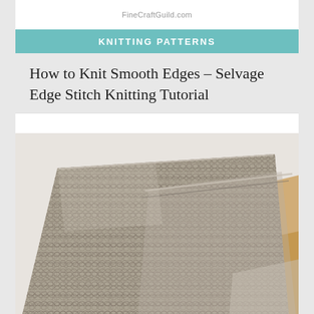FineCraftGuild.com
KNITTING PATTERNS
How to Knit Smooth Edges – Selvage Edge Stitch Knitting Tutorial
[Figure (photo): A gray knitted blanket with a textured lace-like stitch pattern, folded and draped over what appears to be a wooden chair or surface, photographed against a white background.]